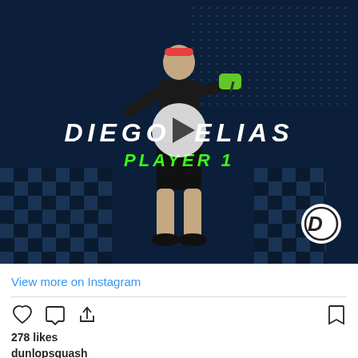[Figure (screenshot): Instagram post screenshot showing a squash player Diego Elias holding a racket on a dark blue checkered background with 'DIEGO ELIAS' and 'PLAYER 1' text overlaid, Dunlop logo in bottom right, and a play button in the center.]
View more on Instagram
278 likes
dunlopsquash